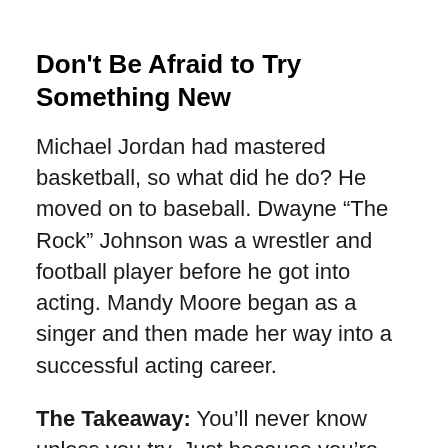Don't Be Afraid to Try Something New
Michael Jordan had mastered basketball, so what did he do? He moved on to baseball. Dwayne “The Rock” Johnson was a wrestler and football player before he got into acting. Mandy Moore began as a singer and then made her way into a successful acting career.
The Takeaway: You’ll never know unless you try. Just because you’re doing something the way it has always been done and you’re seeing success does not mean that you won’t see greater success with a new endeavor. Don’t be